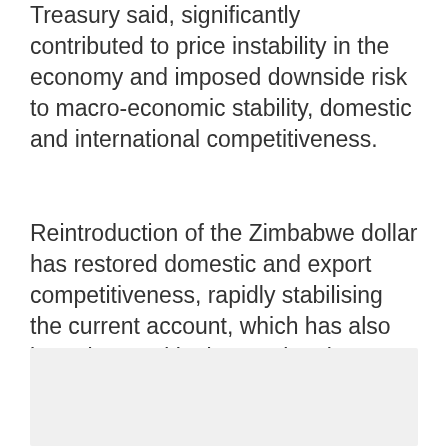Treasury said, significantly contributed to price instability in the economy and imposed downside risk to macro-economic stability, domestic and international competitiveness.
Reintroduction of the Zimbabwe dollar has restored domestic and export competitiveness, rapidly stabilising the current account, which has also been boosted by international remittances, growth in exports and import substitution.
[Figure (other): Gray box placeholder image or chart area]